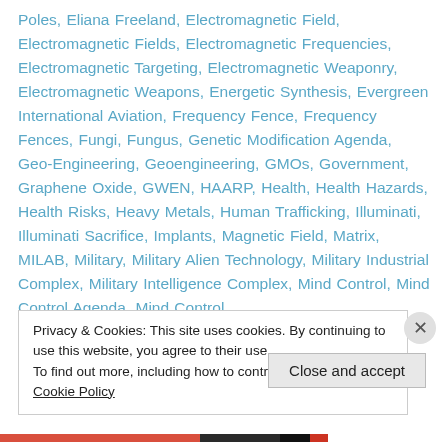Poles, Eliana Freeland, Electromagnetic Field, Electromagnetic Fields, Electromagnetic Frequencies, Electromagnetic Targeting, Electromagnetic Weaponry, Electromagnetic Weapons, Energetic Synthesis, Evergreen International Aviation, Frequency Fence, Frequency Fences, Fungi, Fungus, Genetic Modification Agenda, Geo-Engineering, Geoengineering, GMOs, Government, Graphene Oxide, GWEN, HAARP, Health, Health Hazards, Health Risks, Heavy Metals, Human Trafficking, Illuminati, Illuminati Sacrifice, Implants, Magnetic Field, Matrix, MILAB, Military, Military Alien Technology, Military Industrial Complex, Military Intelligence Complex, Mind Control, Mind Control Agenda, Mind Control
Privacy & Cookies: This site uses cookies. By continuing to use this website, you agree to their use. To find out more, including how to control cookies, see here: Cookie Policy
Close and accept